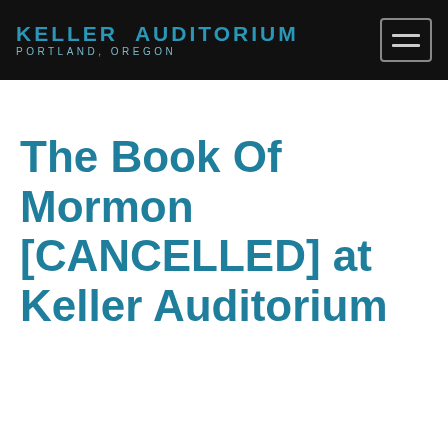KELLER AUDITORIUM PORTLAND, OREGON
The Book Of Mormon [CANCELLED] at Keller Auditorium